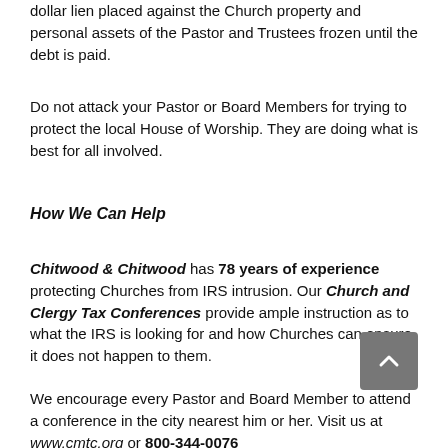dollar lien placed against the Church property and personal assets of the Pastor and Trustees frozen until the debt is paid.
Do not attack your Pastor or Board Members for trying to protect the local House of Worship. They are doing what is best for all involved.
How We Can Help
Chitwood & Chitwood has 78 years of experience protecting Churches from IRS intrusion. Our Church and Clergy Tax Conferences provide ample instruction as to what the IRS is looking for and how Churches can ensure it does not happen to them.
We encourage every Pastor and Board Member to attend a conference in the city nearest him or her. Visit us at www.cmtc.org or 800-344-0076